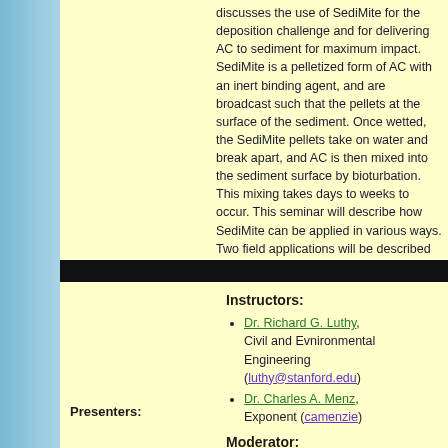discusses the use of SediMite for the deposition challenge and for delivering AC to sediment for maximum impact. SediMite is a pelletized form of AC with an inert binding agent, and are broadcast such that the pellets at the surface of the sediment. Once wetted, the SediMite pellets take on water and break apart, and AC is then mixed into the sediment surface by bioturbation. This mixing takes days to weeks to occur. This seminar will describe how SediMite can be applied in various ways. Two field applications will be described along with possible methods to assess the performance of AC into sediments and evaluate its efficacy. The seminar will also discuss studies planned and underway to examine SediMite's effects on the biological communities
Instructors:
Dr. Richard G. Luthy, Civil and Environmental Engineering (luthy@stanford.edu)
Dr. Charles A. Menzie, Exponent (camenzie...)
Presenters:
Moderator:
Linda Fiedler, Environmental Superfund Remediation (fiedler.linda@epa.g...)
Press the "Go to Seminar" location at the beginning